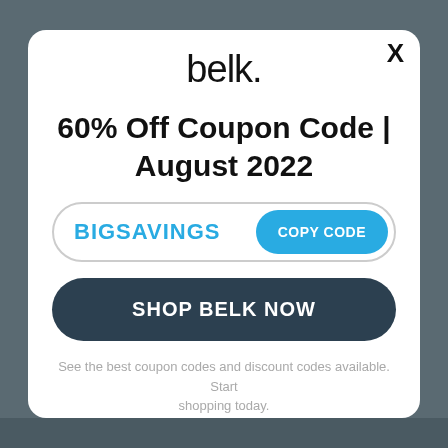[Figure (logo): Belk brand logo with lowercase text 'belk.' in sans-serif font]
60% Off Coupon Code | August 2022
BIGSAVINGS
COPY CODE
SHOP BELK NOW
See the best coupon codes and discount codes available. Start shopping today.